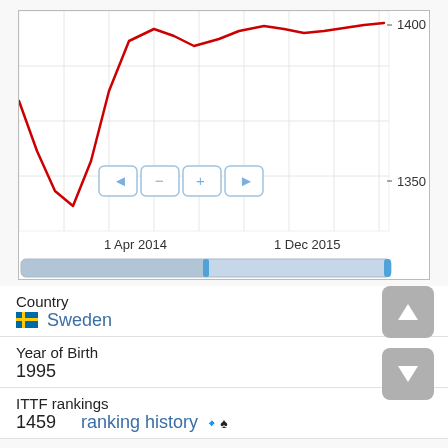[Figure (continuous-plot): Line chart showing ranking history with a red line, y-axis labeled 1350 and 1400, x-axis labeled 1 Apr 2014 and 1 Dec 2015. Navigation controls (back, minus, plus, forward) and a scroll/zoom bar below.]
| Country | Sweden |
| Year of Birth | 1995 |
| ITTF rankings | 1459  ranking history |